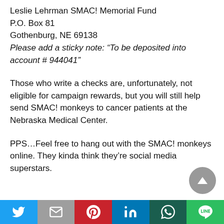Leslie Lehrman SMAC! Memorial Fund
P.O. Box 81
Gothenburg, NE 69138
Please add a sticky note: “To be deposited into account # 944041”
Those who write a checks are, unfortunately, not eligible for campaign rewards, but you will still help send SMAC! monkeys to cancer patients at the Nebraska Medical Center.
PPS…Feel free to hang out with the SMAC! monkeys online. They kinda think they’re social media superstars.